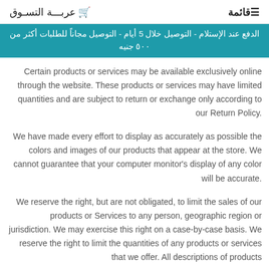قائمة  عربة التسوق
الدفع عند الإستلام - التوصيل خلال 5 أيام - التوصيل مجاناً للطلبات أكثر من 500 جنيه
Certain products or services may be available exclusively online through the website. These products or services may have limited quantities and are subject to return or exchange only according to our Return Policy.
We have made every effort to display as accurately as possible the colors and images of our products that appear at the store. We cannot guarantee that your computer monitor's display of any color will be accurate.
We reserve the right, but are not obligated, to limit the sales of our products or Services to any person, geographic region or jurisdiction. We may exercise this right on a case-by-case basis. We reserve the right to limit the quantities of any products or services that we offer. All descriptions of products